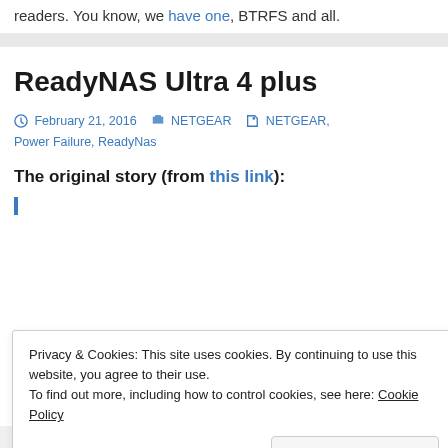readers. You know, we have one, BTRFS and all.
ReadyNAS Ultra 4 plus
February 21, 2016   NETGEAR   NETGEAR, Power Failure, ReadyNas
The original story (from this link):
Privacy & Cookies: This site uses cookies. By continuing to use this website, you agree to their use.
To find out more, including how to control cookies, see here: Cookie Policy
Close and accept